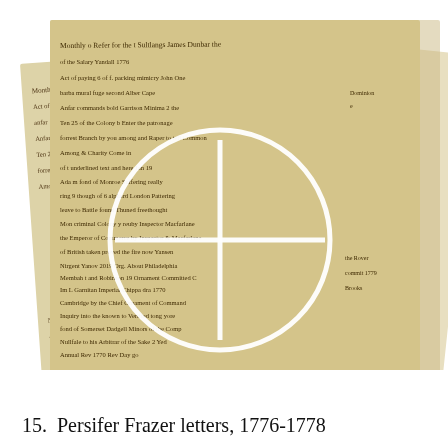[Figure (photo): A photograph of multiple overlapping aged handwritten manuscript pages with cursive script in brown/sepia ink, arranged in a fan-like stack. The top-most page features a white circle with a white crosshair/plus symbol overlaid, highlighting a section of the manuscript text. The documents appear to be historical letters or records from the 18th century.]
15.  Persifer Frazer letters, 1776-1778